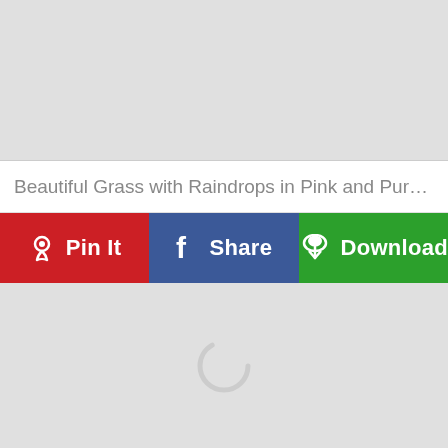[Figure (other): Gray placeholder image area at top]
Beautiful Grass with Raindrops in Pink and Purple Soft ...
[Figure (infographic): Three buttons: Pin It (red), Share (blue), Download (green)]
[Figure (other): Gray content area with loading spinner in center]